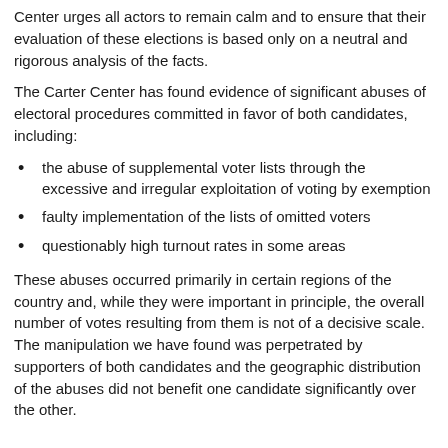Center urges all actors to remain calm and to ensure that their evaluation of these elections is based only on a neutral and rigorous analysis of the facts.
The Carter Center has found evidence of significant abuses of electoral procedures committed in favor of both candidates, including:
the abuse of supplemental voter lists through the excessive and irregular exploitation of voting by exemption
faulty implementation of the lists of omitted voters
questionably high turnout rates in some areas
These abuses occurred primarily in certain regions of the country and, while they were important in principle, the overall number of votes resulting from them is not of a decisive scale. The manipulation we have found was perpetrated by supporters of both candidates and the geographic distribution of the abuses did not benefit one candidate significantly over the other.